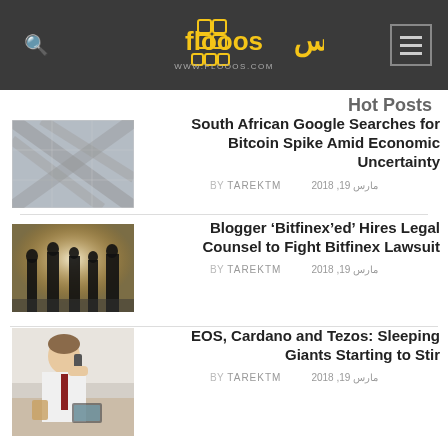flooos.com — WWW.FLOOOS.COM
Hot Posts
[Figure (photo): Modern glass building facade with geometric angular lines, black and white]
South African Google Searches for Bitcoin Spike Amid Economic Uncertainty
BY TAREKTM | مارس 19, 2018
[Figure (photo): Silhouettes of people standing against bright light inside a building]
Blogger ‘Bitfinex’ed’ Hires Legal Counsel to Fight Bitfinex Lawsuit
BY TAREKTM | مارس 19, 2018
[Figure (photo): Man in business shirt talking on phone at a cafe table]
EOS, Cardano and Tezos: Sleeping Giants Starting to Stir
BY TAREKTM | مارس 19, 2018